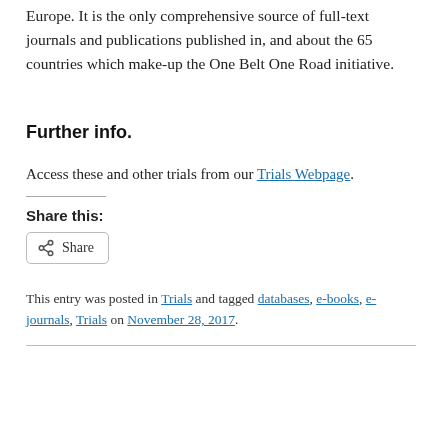Europe. It is the only comprehensive source of full-text journals and publications published in, and about the 65 countries which make-up the One Belt One Road initiative.
Further info.
Access these and other trials from our Trials Webpage.
Share this:
Share
This entry was posted in Trials and tagged databases, e-books, e-journals, Trials on November 28, 2017.